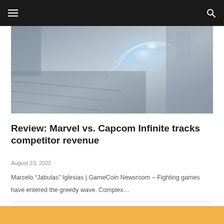[Figure (screenshot): Hero image of Marvel vs. Capcom Infinite gameplay showing energy blast effects with blue/white glow on a dark urban background]
Review: Marvel vs. Capcom Infinite tracks competitor revenue
August 23, 2022
Marcelo “Jabulas” Iglesias | GameCoin Newsroom – Fighting games have entered the greedy wave. Complex…